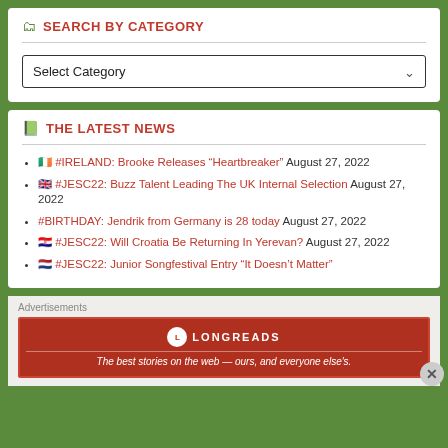SEARCH BY CATEGORY
Select Category
THE LATEST NEWS
🇮🇪 #IRELAND: Brooke Releases “Heartbreaker” August 27, 2022
🇬🇧 #JESC22: Buzz Talent Leading The UK Internal Selection August 27, 2022
#BIRTHDAY: Jendrik from Germany is 28 today August 27, 2022
🇭🇷 #JESC22: Will Croatia Be Returning In Yerevan? August 27, 2022
🇳🇱 #JESC22: Junior Songfestival Entry “It Doesn't Matter”
Advertisements
[Figure (other): Longreads advertisement banner: red background with Longreads logo circle and text 'The best stories on the web — ours, and everyone else's.']